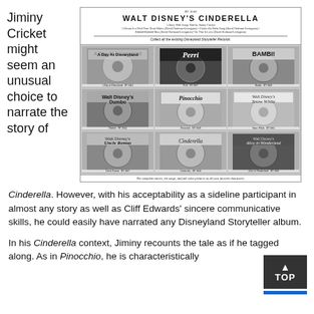Jiminy Cricket might seem an unusual choice to narrate the story of
[Figure (photo): Black and white scan of a Walt Disney's Cinderella record album advertisement showing a 3x3 grid of Disneyland Storyteller Records including A Day at Disneyland, Perri, Bambi, Dumbo, Pinocchio, Snow White, Uncle Remus, Cinderella, and Alice in Wonderland. Caption reads: The complete stories, hit songs, and full color pictures of all your favorite characters.]
Cinderella. However, with his acceptability as a sideline participant in almost any story as well as Cliff Edwards' sincere communicative skills, he could easily have narrated any Disneyland Storyteller album.
In his Cinderella context, Jiminy recounts the tale as if he tagged along. As in Pinocchio, he is characteristically